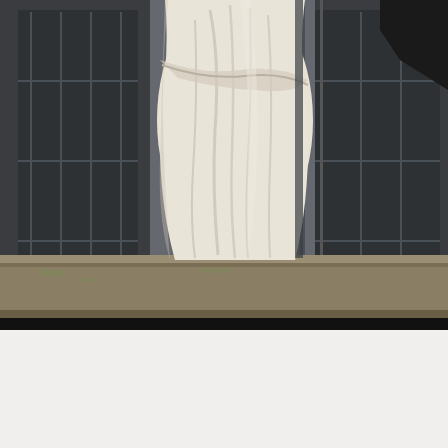[Figure (photo): Close-up photograph of a classical white marble statue (lower torso and draped fabric), standing on a stone ledge or cornice, with dark window frames and grey exterior building facade visible in the background.]
Opening and closing times for Angel Inn...